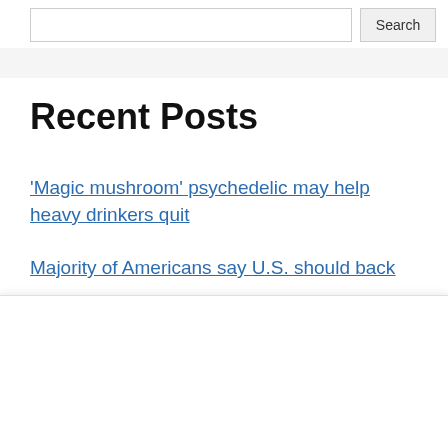[Figure (screenshot): Search bar with input field and Search button]
Recent Posts
‘Magic mushroom’ psychedelic may help heavy drinkers quit
Majority of Americans say U.S. should back
We use cookies on our website to give you the most relevant experience by remembering your preferences and repeat visits. By clicking “Accept All”, you consent to the use of ALL the cookies. However, you may visit "Cookie Settings" to provide a controlled consent.